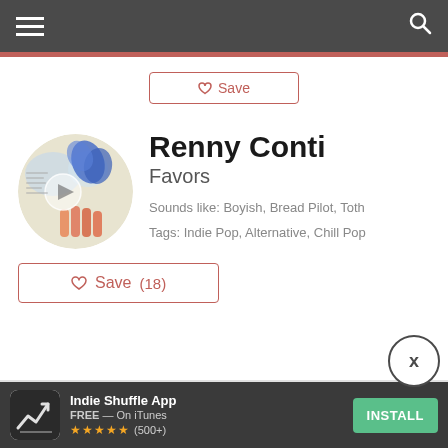[Figure (screenshot): Mobile app navigation bar with hamburger menu and search icon on dark grey background]
[Figure (illustration): Circular album art for Renny Conti - Favors, colorful artwork with blue and orange elements]
Renny Conti
Favors
Sounds like: Boyish, Bread Pilot, Toth
Tags: Indie Pop, Alternative, Chill Pop
♡ Save (18)
MorMor
Indie Shuffle App
FREE — On iTunes
★★★★★ (500+)
INSTALL